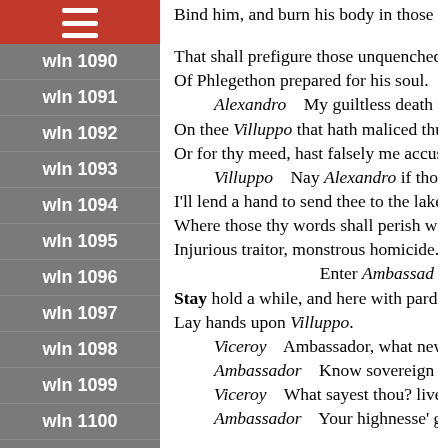wln 1089
wln 1090
wln 1091
wln 1092
wln 1093
wln 1094
wln 1095
wln 1096
wln 1097
wln 1098
wln 1099
wln 1100
wln 1101
wln 1102
wln 1103
wln 1104
wln 1105
wln 1106
Bind him, and burn his body in those f
That shall prefigure those unquenched
Of Phlegethon prepared for his soul.
Alexandro    My guiltless death wil
On thee Villuppo that hath maliced thu
Or for thy meed, hast falsely me accus
Villuppo    Nay Alexandro if thou m
I'll lend a hand to send thee to the lake
Where those thy words shall perish wi
Injurious traitor, monstrous homicide.
Enter Ambassador
Stay hold a while, and here with pardo
Lay hands upon Villuppo.
Viceroy    Ambassador, what news h
Ambassador    Know sovereign Lor
Viceroy    What sayest thou? liveth
Ambassador    Your highnesse' go